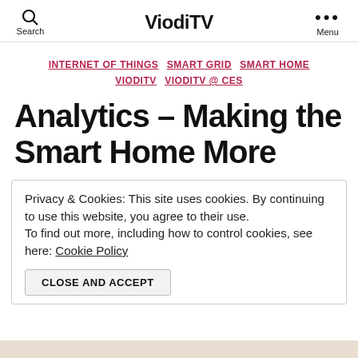Search  ViodiTV  Menu
INTERNET OF THINGS  SMART GRID  SMART HOME  VIODITV  VIODITV @ CES
Analytics – Making the Smart Home More
Privacy & Cookies: This site uses cookies. By continuing to use this website, you agree to their use. To find out more, including how to control cookies, see here: Cookie Policy
CLOSE AND ACCEPT